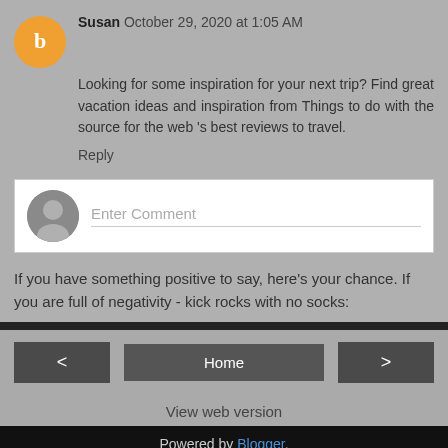Susan October 29, 2020 at 1:05 AM
Looking for some inspiration for your next trip? Find great vacation ideas and inspiration from Things to do with the source for the web 's best reviews to travel.
Reply
[Figure (screenshot): Comment input box with generic user avatar and 'Enter Comment' placeholder text]
If you have something positive to say, here's your chance. If you are full of negativity - kick rocks with no socks:
[Figure (screenshot): Navigation bar with left arrow button, Home button, and right arrow button]
View web version
Powered by Blogger.